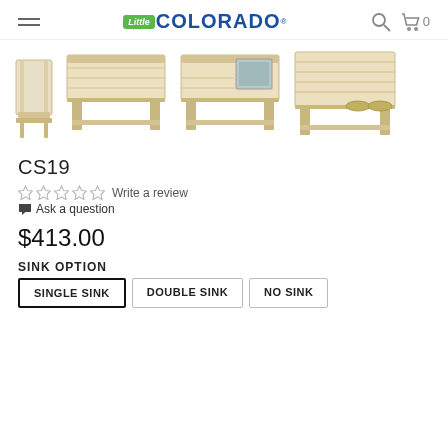Little Colorado - navigation header with hamburger menu, logo, search and cart icons
[Figure (photo): Four product thumbnail images of wooden children's activity tables/mud kitchens with light natural wood finish, shown from different angles. Products include a side view, front view of table, table with sink, and bench with bowls.]
CS19
Write a review
Ask a question
$413.00
SINK OPTION
SINGLE SINK  DOUBLE SINK  NO SINK